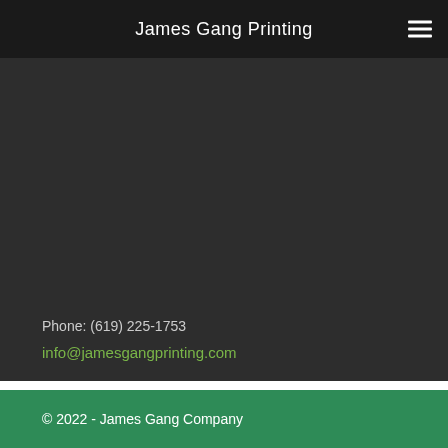James Gang Printing
Phone: (619) 225-1753
info@jamesgangprinting.com
© 2022 - James Gang Company